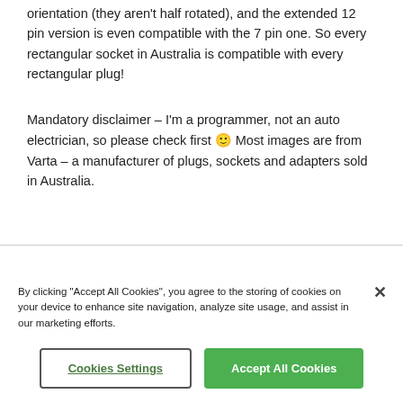orientation (they aren't half rotated), and the extended 12 pin version is even compatible with the 7 pin one. So every rectangular socket in Australia is compatible with every rectangular plug!
Mandatory disclaimer – I'm a programmer, not an auto electrician, so please check first 🙂 Most images are from Varta – a manufacturer of plugs, sockets and adapters sold in Australia.
By clicking "Accept All Cookies", you agree to the storing of cookies on your device to enhance site navigation, analyze site usage, and assist in our marketing efforts.
Cookies Settings
Accept All Cookies